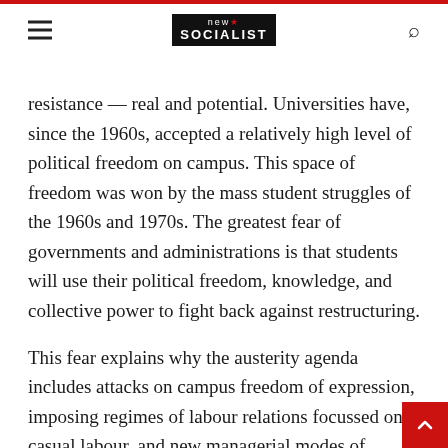new SOCIALIST [logo]
resistance — real and potential. Universities have, since the 1960s, accepted a relatively high level of political freedom on campus. This space of freedom was won by the mass student struggles of the 1960s and 1970s. The greatest fear of governments and administrations is that students will use their political freedom, knowledge, and collective power to fight back against restructuring.
This fear explains why the austerity agenda includes attacks on campus freedom of expression, imposing regimes of labour relations focussed on casual labour, and new managerial modes of university governance. The attacks on campus freedom of expression range from disciplinary measures against activists at Sussex University in the UK to the shut-down of Students